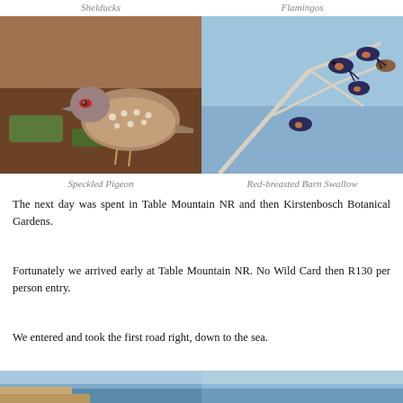Shelducks
Flamingos
[Figure (photo): Speckled Pigeon on ground with brown dried grass background]
[Figure (photo): Red-breasted Barn Swallows perched on bare white branches against blue sky]
Speckled Pigeon
Red-breasted Barn Swallow
The next day was spent in Table Mountain NR and then Kirstenbosch Botanical Gardens.
Fortunately we arrived early at Table Mountain NR. No Wild Card then R130 per person entry.
We entered and took the first road right, down to the sea.
[Figure (photo): Bottom partial photo strip - left side showing water/sea scene]
[Figure (photo): Bottom partial photo strip - right side showing water/sea scene]